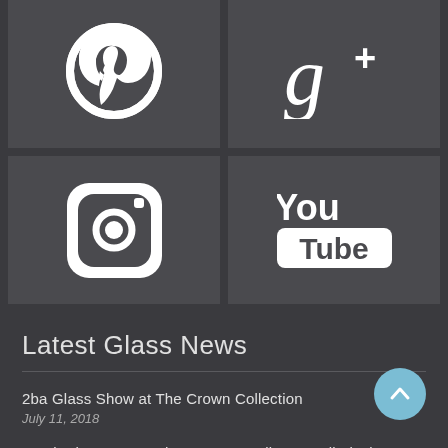[Figure (logo): Pinterest logo icon on dark gray background]
[Figure (logo): Google+ logo icon on dark gray background]
[Figure (logo): Instagram camera logo icon on dark gray background]
[Figure (logo): YouTube logo icon on dark gray background]
Latest Glass News
2ba Glass Show at The Crown Collection
July 11, 2018
Wook Show 2018 - The Best Annually Cancelled Glass Show
May 01, 2018